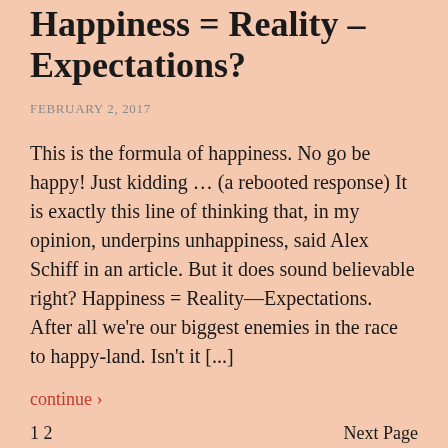Happiness = Reality – Expectations?
FEBRUARY 2, 2017
This is the formula of happiness. No go be happy! Just kidding … (a rebooted response) It is exactly this line of thinking that, in my opinion, underpins unhappiness, said Alex Schiff in an article. But it does sound believable right? Happiness = Reality—Expectations. After all we're our biggest enemies in the race to happy-land. Isn't it [...]
continue ›
1 2   Next Page